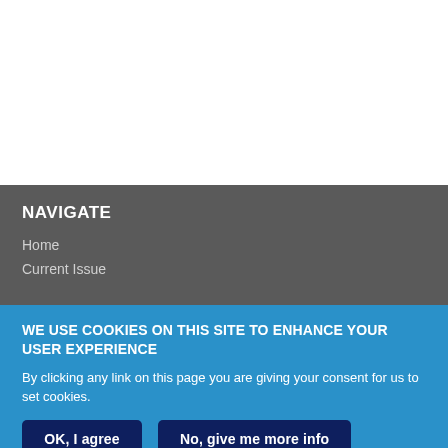NAVIGATE
Home
Current Issue
WE USE COOKIES ON THIS SITE TO ENHANCE YOUR USER EXPERIENCE
By clicking any link on this page you are giving your consent for us to set cookies.
OK, I agree
No, give me more info